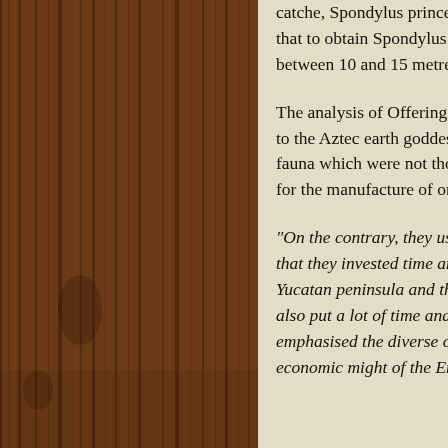[Figure (photo): Wood texture background — dark brown wooden planks with vertical grain pattern visible on the left side of the page]
catche, Spondylus princeps that to obtain Spondylus ca between 10 and 15 metres d
The analysis of Offering 12 to the Aztec earth goddess. fauna which were not those for the manufacture of orna
"On the contrary, they used that they invested time and Yucatan peninsula and the d also put a lot of time and ef emphasised the diverse orig economic might of the Emp